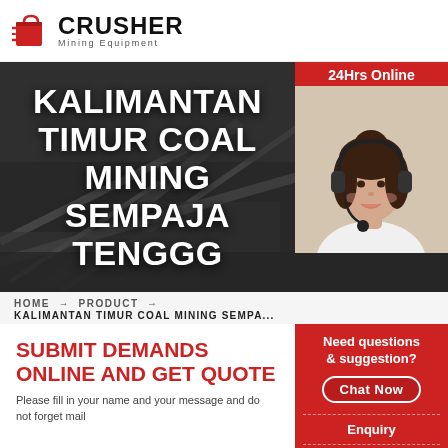CRUSHER Mining Equipment
[Figure (screenshot): Industrial mining equipment background with dark overlay showing the hero title section]
KALIMANTAN TIMUR COAL MINING SEMPAJA TENGGG
[Figure (photo): Customer service agent woman wearing headset, 24Hrs Online support panel]
HOME → PRODUCT → KALIMANTAN TIMUR COAL MINING SEMPA...
SUBMIT DEMANDS ONLINE AND GET QUOTE
Please fill in your name and your message and do not forget mail
Need questions & suggestion?
Chat Now
Enquiry
limingjlmofen@sina.com